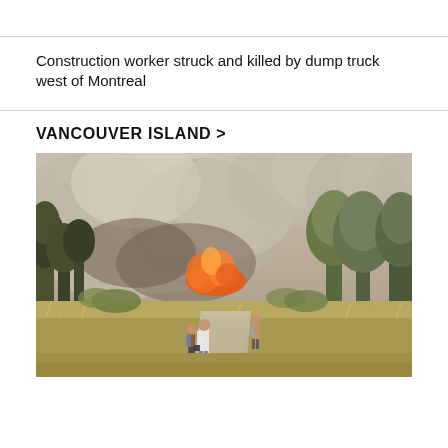Construction worker struck and killed by dump truck west of Montreal
VANCOUVER ISLAND >
[Figure (photo): People standing on a dirt road watching a wildfire with large smoke clouds and flames visible among trees and dry grass]